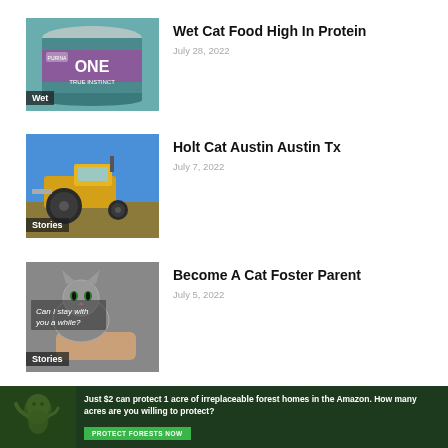[Figure (photo): Purina ONE True Instinct cat food can with teal and purple label, 'Wet' category label overlay]
Wet Cat Food High In Protein
July 28, 2022
[Figure (photo): Yellow tractor in a field under blue sky, 'Stories' category label overlay]
Holt Cat Austin Austin Tx
July 7, 2022
[Figure (photo): Kitten being held by hand with text overlay 'Can I stay with you a while?', 'Stories' category label]
Become A Cat Foster Parent
July 5, 2022
[Figure (infographic): Green forest advertisement banner: 'Just $2 can protect 1 acre of irreplaceable forest homes in the Amazon. How many acres are you willing to protect?' with PROTECT FORESTS NOW button]